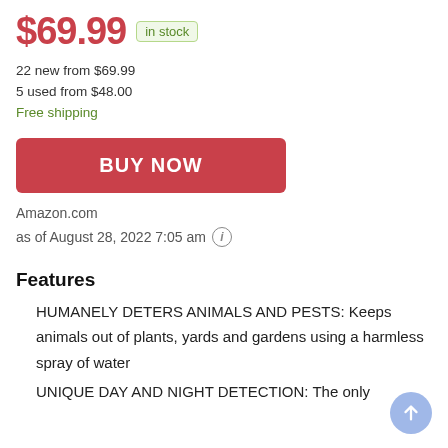$69.99 in stock
22 new from $69.99
5 used from $48.00
Free shipping
BUY NOW
Amazon.com
as of August 28, 2022 7:05 am (i)
Features
HUMANELY DETERS ANIMALS AND PESTS: Keeps animals out of plants, yards and gardens using a harmless spray of water
UNIQUE DAY AND NIGHT DETECTION: The only